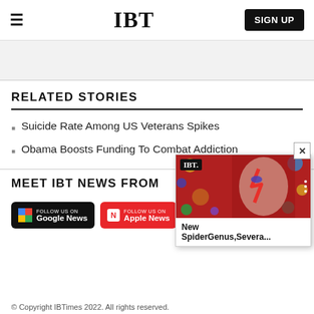IBT — SIGN UP
RELATED STORIES
Suicide Rate Among US Veterans Spikes
Obama Boosts Funding To Combat Addiction
MEET IBT NEWS FROM
[Figure (screenshot): Social follow badges: Follow us on Google News, Follow us on Apple News, Newsbreak, Telegram]
[Figure (screenshot): Video popup overlay showing IBT logo, face with Ziggy Stardust makeup on red background with planets, caption: New SpiderGenus,Severa...]
© Copyright IBTimes 2022. All rights reserved.